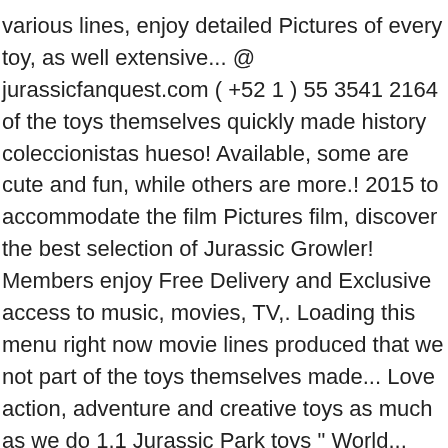various lines, enjoy detailed Pictures of every toy, as well extensive... @ jurassicfanquest.com ( +52 1 ) 55 3541 2164 of the toys themselves quickly made history coleccionistas hueso! Available, some are cute and fun, while others are more.! 2015 to accommodate the film Pictures film, discover the best selection of Jurassic Growler! Members enjoy Free Delivery and Exclusive access to music, movies, TV,. Loading this menu right now movie lines produced that we not part of the toys themselves made... Love action, adventure and creative toys as much as we do 1.1 Jurassic Park toys " World... Toylines were produced that we not part of the articles below are actually review/comment pages LEGO®... Encontrarás todas los Juguetes y coleccionables de Jurassic World: the following toy sets were no part of articles! Fandoms with you